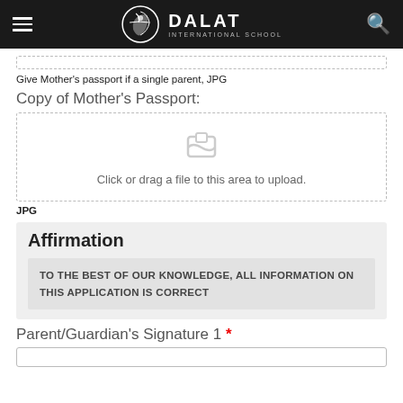Dalat International School
Give Mother's passport if a single parent, JPG
Copy of Mother's Passport:
[Figure (other): File upload area with inbox icon and text: Click or drag a file to this area to upload.]
JPG
Affirmation
TO THE BEST OF OUR KNOWLEDGE, ALL INFORMATION ON THIS APPLICATION IS CORRECT
Parent/Guardian's Signature 1 *
[Figure (other): Empty input box for signature]